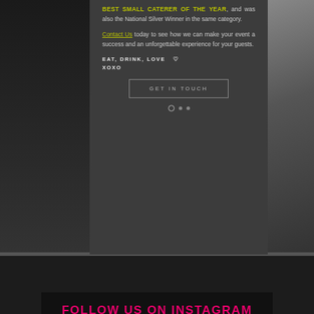BEST SMALL CATERER OF THE YEAR, and was also the National Silver Winner in the same category.
Contact Us today to see how we can make your event a success and an unforgettable experience for your guests.
EAT, DRINK, LOVE  ♡
XOXO
GET IN TOUCH
[Figure (screenshot): Slider navigation dots - one open circle and two filled circles]
FOLLOW US ON INSTAGRAM
@lamintcatering